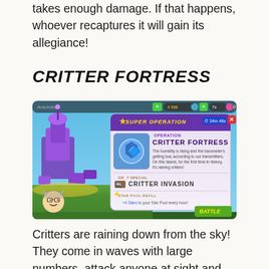takes enough damage. If that happens, whoever recaptures it will gain its allegiance!
CRITTER FORTRESS
[Figure (screenshot): Screenshot of a mobile game showing a 'Super Operation' popup for 'Critter Fortress'. The popup shows a purple fortress building on the left and an info panel on the right with text: 'The humidity is rising and the barometer's getting low, according to our transmitters. On this island, for the first time in history, it's raining critters!' Also shows 'DR. T SPECIAL: CRITTER INVASION' and 'STAR POOL REFILL: +4 Stars to your Star Pool every hour!' A cartoon character of Dr. T is shown in the bottom left.]
Critters are raining down from the sky! They come in waves with large numbers, attack anyone at sight and get bigger with each wave.